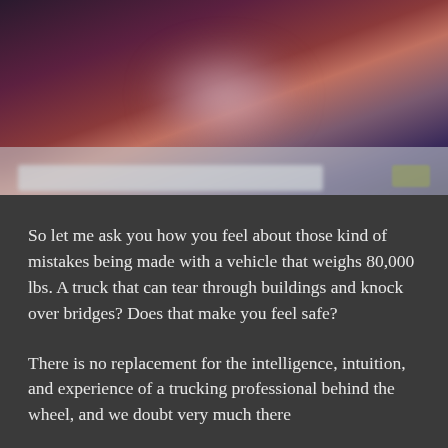[Figure (photo): Blurred dark background image with purple, red, and brown tones, with a light bar element at the bottom of the image area suggesting a video player or presentation slide.]
So let me ask you how you feel about those kind of mistakes being made with a vehicle that weighs 80,000 lbs. A truck that can tear through buildings and knock over bridges? Does that make you feel safe?
There is no replacement for the intelligence, intuition, and experience of a trucking professional behind the wheel, and we doubt very much there